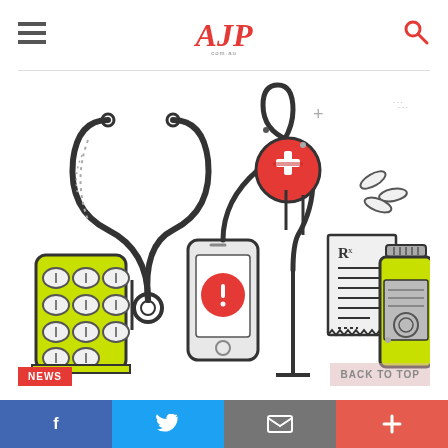AJP.com.au
[Figure (illustration): Medical/pharmacy themed flat-style illustration showing a stethoscope, pill blister pack (green), a smartphone with warning icon, a prescription (Rx) pad, a red medical cross badge on a stand, capsule pills, and a pill bottle (green/grey) on white background.]
NEWS
BACK TO TOP